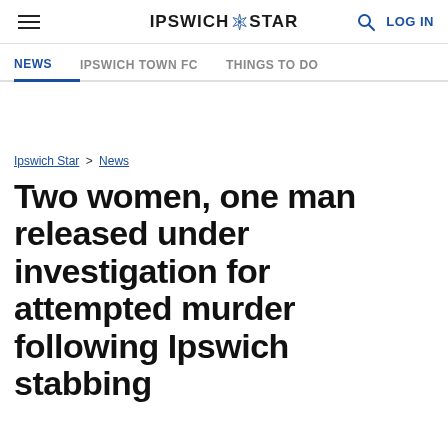Ipswich Star — NEWS | IPSWICH TOWN FC | THINGS TO DO
Ipswich Star > News
Two women, one man released under investigation for attempted murder following Ipswich stabbing